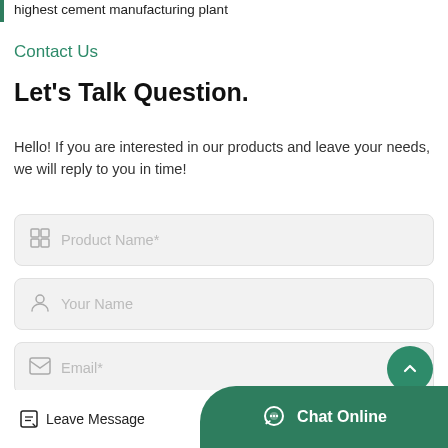highest cement manufacturing plant
Contact Us
Let's Talk Question.
Hello! If you are interested in our products and leave your needs, we will reply to you in time!
Product Name*
Your Name
Email*
Your Phone or Whatsapp*
Leave Message
Chat Online